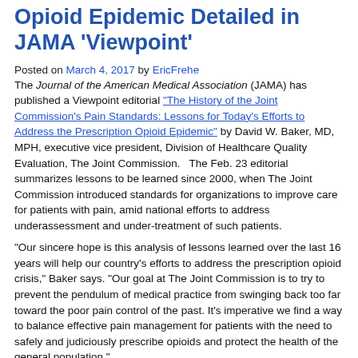Opioid Epidemic Detailed in JAMA 'Viewpoint'
Posted on March 4, 2017 by EricFrehe
The Journal of the American Medical Association (JAMA) has published a Viewpoint editorial "The History of the Joint Commission's Pain Standards: Lessons for Today's Efforts to Address the Prescription Opioid Epidemic" by David W. Baker, MD, MPH, executive vice president, Division of Healthcare Quality Evaluation, The Joint Commission. The Feb. 23 editorial summarizes lessons to be learned since 2000, when The Joint Commission introduced standards for organizations to improve care for patients with pain, amid national efforts to address underassessment and under-treatment of such patients.
"Our sincere hope is this analysis of lessons learned over the last 16 years will help our country's efforts to address the prescription opioid crisis," Baker says. "Our goal at The Joint Commission is to try to prevent the pendulum of medical practice from swinging back too far toward the poor pain control of the past. It's imperative we find a way to balance effective pain management for patients with the need to safely and judiciously prescribe opioids and protect the health of the general population."
The Joint Commission continues to address pain management for patients. In 2016, based on extensive assessment of public health, health care organization and patients' needs, The Joint Commission, with expert input from a Technical Advisory Panel of national pain experts, began drafting revisions to its pain management standards for accredited hospitals. The proposed standards were posted at The Joint Commission website for public comment Jan. 9 through Feb. 20, and will be finalized based on analysis of the information gathered during the